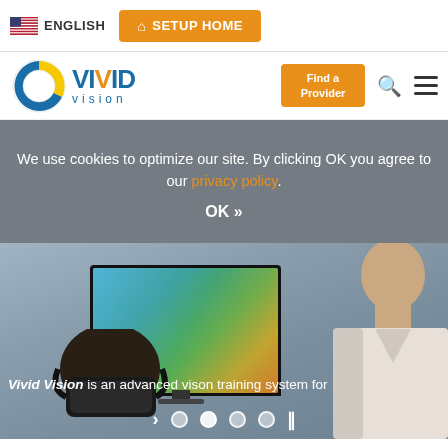ENGLISH | SETUP HOME
[Figure (logo): Vivid Vision logo with circular icon and text]
Find a Provider
We use cookies to optimize our site. By clicking OK you agree to our privacy policy.
OK »
[Figure (photo): Person wearing VR headset in front of monitor showing colorful scene, with clinician in background]
Vivid Vision is an advanced vison training system for